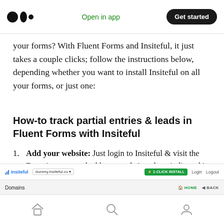Medium | Open in app | Get started
your forms? With Fluent Forms and Insiteful, it just takes a couple clicks; follow the instructions below, depending whether you want to install Insiteful on all your forms, or just one:
How-to track partial entries & leads in Fluent Forms with Insiteful
Add your website: Just login to Insiteful & visit the Domains page and add your website where indicated in the screenshot below.
[Figure (screenshot): Screenshot of the Insiteful dashboard showing the Domains page with navigation bar including 1-CLICK INSTALL button, Login, Logout links, and a Domains section with HOME and BACK navigation.]
Home | Search | Profile navigation icons